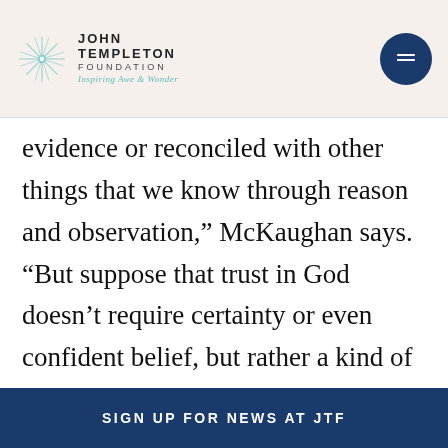John Templeton Foundation — Inspiring Awe & Wonder
evidence or reconciled with other things that we know through reason and observation,” McKaughan says. “But suppose that trust in God doesn’t require certainty or even confident belief, but rather a kind of hope or reliance even in the face of belief-precluding doubt. If so, it could turn out to be rational to trust in God under a much wider range of circumstances than is often assumed, including circumstances in which it arguably isn’t rational to hold confident beliefs
SIGN UP FOR NEWS AT JTF